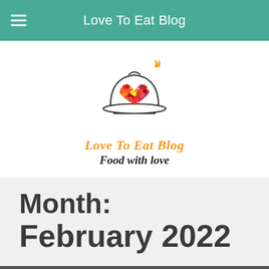Love To Eat Blog
[Figure (logo): Love To Eat Blog logo: a serving dish cloche with a colorful heart made of flowers/dots inside, with an orange flame/steam rising from the top. Below the dish is an oval plate shadow. Orange italic text reads 'Love To Eat Blog' and bold italic black text reads 'Food with love'.]
Month: February 2022